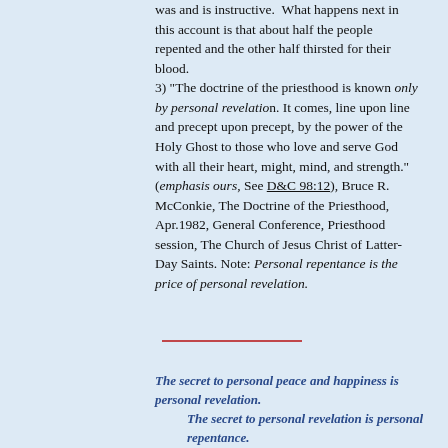was and is instructive. What happens next in this account is that about half the people repented and the other half thirsted for their blood. 3) "The doctrine of the priesthood is known only by personal revelation. It comes, line upon line and precept upon precept, by the power of the Holy Ghost to those who love and serve God with all their heart, might, mind, and strength." (emphasis ours, See D&C 98:12), Bruce R. McConkie, The Doctrine of the Priesthood, Apr.1982, General Conference, Priesthood session, The Church of Jesus Christ of Latter-Day Saints. Note: Personal repentance is the price of personal revelation.
The secret to personal peace and happiness is personal revelation. The secret to personal revelation is personal repentance.